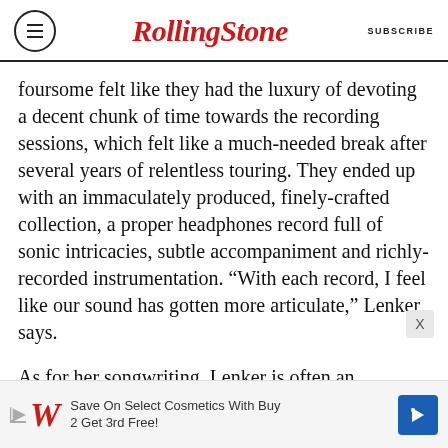RollingStone  SUBSCRIBE
foursome felt like they had the luxury of devoting a decent chunk of time towards the recording sessions, which felt like a much-needed break after several years of relentless touring. They ended up with an immaculately produced, finely-crafted collection, a proper headphones record full of sonic intricacies, subtle accompaniment and richly-recorded instrumentation. “With each record, I feel like our sound has gotten more articulate,” Lenker says.
As for her songwriting, Lenker is often an intentionally opaque lyricist. Her songs convey a profound intimacy and frequently hint at pain and
[Figure (other): Walgreens advertisement banner: Save On Select Cosmetics With Buy 2 Get 3rd Free!]